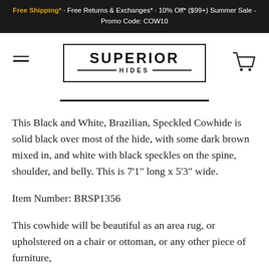Free Shipping* · Free Returns & Exchanges* · 10% Off* ($99+) Summer Sale - Promo Code: COW10
[Figure (logo): Superior Hides logo in a rectangular border with hamburger menu on the left and cart icon on the right]
This Black and White, Brazilian, Speckled Cowhide is solid black over most of the hide, with some dark brown mixed in, and white with black speckles on the spine, shoulder, and belly. This is 7'1" long x 5'3" wide.
Item Number: BRSP1356
This cowhide will be beautiful as an area rug, or upholstered on a chair or ottoman, or any other piece of furniture,